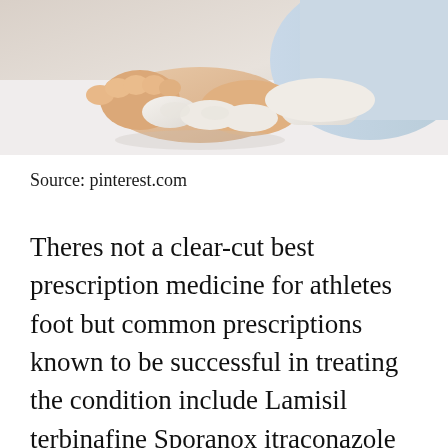[Figure (photo): A medical professional wearing white latex gloves examining or holding a patient's foot, with a light blue background suggesting a clinical setting.]
Source: pinterest.com
Theres not a clear-cut best prescription medicine for athletes foot but common prescriptions known to be successful in treating the condition include Lamisil terbinafine Sporanox itraconazole and Diflucan fluconazole. Athletes foot tines pedis is a fungal infection most commonly